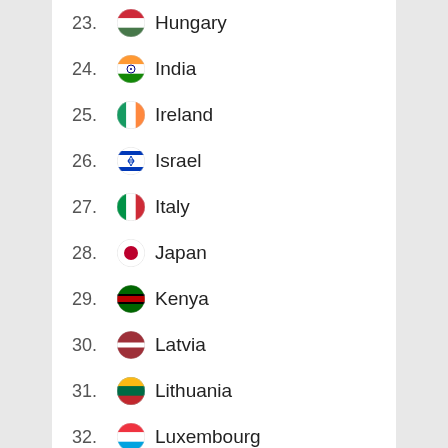23. Hungary
24. India
25. Ireland
26. Israel
27. Italy
28. Japan
29. Kenya
30. Latvia
31. Lithuania
32. Luxembourg
33. Malaysia
34. Malta
35. Mexico